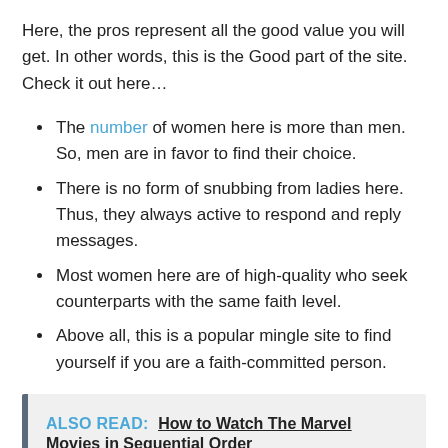Here, the pros represent all the good value you will get. In other words, this is the Good part of the site. Check it out here…
The number of women here is more than men. So, men are in favor to find their choice.
There is no form of snubbing from ladies here. Thus, they always active to respond and reply messages.
Most women here are of high-quality who seek counterparts with the same faith level.
Above all, this is a popular mingle site to find yourself if you are a faith-committed person.
ALSO READ:  How to Watch The Marvel Movies in Sequential Order